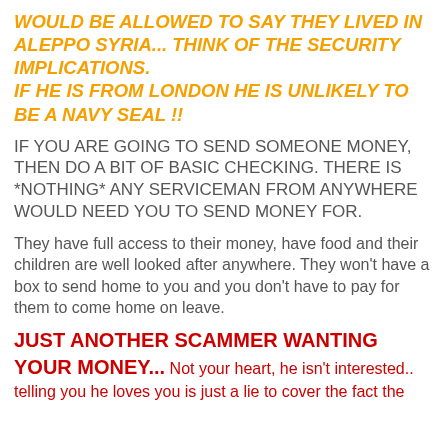WOULD BE ALLOWED TO SAY THEY LIVED IN ALEPPO SYRIA... THINK OF THE SECURITY IMPLICATIONS. IF HE IS FROM LONDON HE IS UNLIKELY TO BE A NAVY SEAL !!
IF YOU ARE GOING TO SEND SOMEONE MONEY, THEN DO A BIT OF BASIC CHECKING. THERE IS *NOTHING* ANY SERVICEMAN FROM ANYWHERE WOULD NEED YOU TO SEND MONEY FOR.
They have full access to their money, have food and their children are well looked after anywhere. They won't have a box to send home to you and you don't have to pay for them to come home on leave.
JUST ANOTHER SCAMMER WANTING YOUR MONEY... Not your heart, he isn't interested.. telling you he loves you is just a lie to cover the fact the